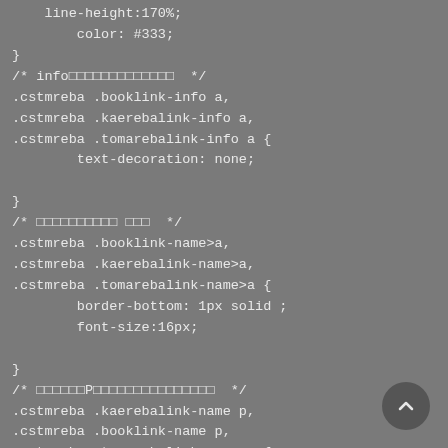CSS code snippet showing styling rules for .cstmreba booklink-info, kaerebalink-info, tomarebalink-info, booklink-name, kaerebalink-name, and tomarebalink-name selectors